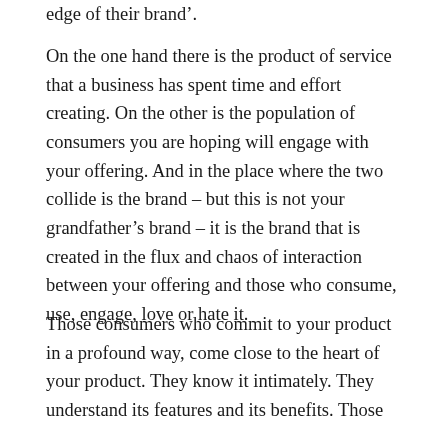edge of their brand’.
On the one hand there is the product of service that a business has spent time and effort creating. On the other is the population of consumers you are hoping will engage with your offering. And in the place where the two collide is the brand – but this is not your grandfather’s brand – it is the brand that is created in the flux and chaos of interaction between your offering and those who consume, use, engage, love or hate it.
Those consumers who commit to your product in a profound way, come close to the heart of your product. They know it intimately. They understand its features and its benefits. Those